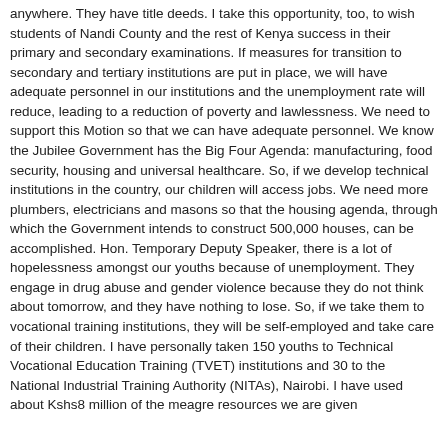anywhere. They have title deeds. I take this opportunity, too, to wish students of Nandi County and the rest of Kenya success in their primary and secondary examinations. If measures for transition to secondary and tertiary institutions are put in place, we will have adequate personnel in our institutions and the unemployment rate will reduce, leading to a reduction of poverty and lawlessness. We need to support this Motion so that we can have adequate personnel. We know the Jubilee Government has the Big Four Agenda: manufacturing, food security, housing and universal healthcare. So, if we develop technical institutions in the country, our children will access jobs. We need more plumbers, electricians and masons so that the housing agenda, through which the Government intends to construct 500,000 houses, can be accomplished. Hon. Temporary Deputy Speaker, there is a lot of hopelessness amongst our youths because of unemployment. They engage in drug abuse and gender violence because they do not think about tomorrow, and they have nothing to lose. So, if we take them to vocational training institutions, they will be self-employed and take care of their children. I have personally taken 150 youths to Technical Vocational Education Training (TVET) institutions and 30 to the National Industrial Training Authority (NITAs), Nairobi. I have used about Kshs8 million of the meagre resources we are given